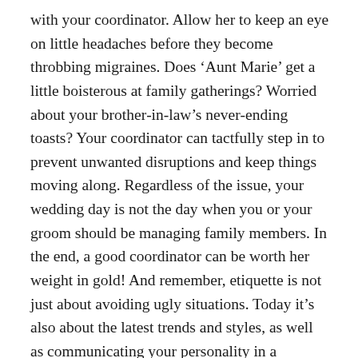with your coordinator. Allow her to keep an eye on little headaches before they become throbbing migraines. Does 'Aunt Marie' get a little boisterous at family gatherings? Worried about your brother-in-law's never-ending toasts? Your coordinator can tactfully step in to prevent unwanted disruptions and keep things moving along. Regardless of the issue, your wedding day is not the day when you or your groom should be managing family members. In the end, a good coordinator can be worth her weight in gold! And remember, etiquette is not just about avoiding ugly situations. Today it's also about the latest trends and styles, as well as communicating your personality in a memorable and appropriate way. So don't hesitate to ask your coordinator how to make etiquette work for you — you might be surprised to find out how much flexibility and fun there is in today's rules.